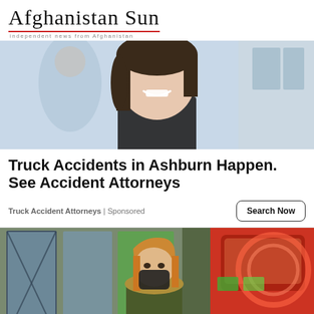Afghanistan Sun — Independent news from Afghanistan
[Figure (photo): Smiling woman with dark hair against a light background, another person visible behind her]
Truck Accidents in Ashburn Happen. See Accident Attorneys
Truck Accident Attorneys | Sponsored
[Figure (photo): Woman wearing a face mask and fur-trimmed jacket standing outside a store, with a red vehicle visible on the right]